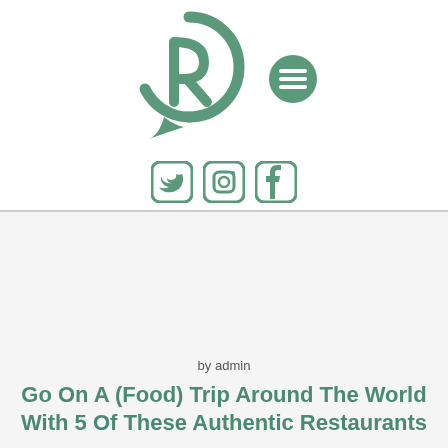[Figure (logo): Green circular logo with stylized R/leaf icon and a hamburger menu icon to the right]
[Figure (illustration): Social media icons row: Twitter bird, Instagram camera, Facebook F — all in green outline style]
by admin
Go On A (Food) Trip Around The World With 5 Of These Authentic Restaurants